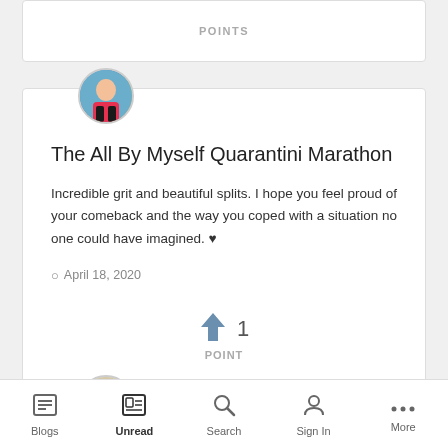POINTS
The All By Myself Quarantini Marathon
Incredible grit and beautiful splits. I hope you feel proud of your comeback and the way you coped with a situation no one could have imagined. ♥
April 18, 2020
↑ 1 POINT
Blogs  Unread  Search  Sign In  More